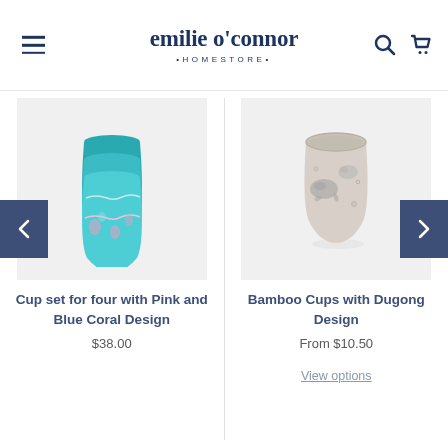emilie o'connor •HOMESTORE•
[Figure (photo): Stack of teal/blue bamboo cups with pink and blue coral design pattern]
Cup set for four with Pink and Blue Coral Design
$38.00
[Figure (photo): Single bamboo cup with dugong (sea creature) design in grey/beige tones]
Bamboo Cups with Dugong Design
From $10.50
View options